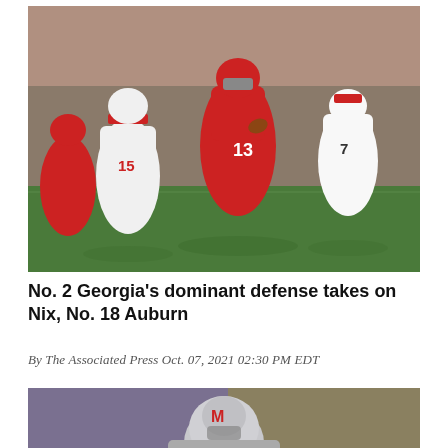[Figure (photo): Football action photo: Georgia quarterback #13 in red uniform running with the ball, pursued by opposing players in white uniforms including #15 and #7, with crowd in background]
No. 2 Georgia's dominant defense takes on Nix, No. 18 Auburn
By The Associated Press Oct. 07, 2021 02:30 PM EDT
[Figure (photo): Football player in helmet, partial view at bottom of page]